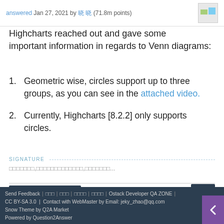answered Jan 27, 2021 by 晓 晓 (71.8m points)
Highcharts reached out and gave some important information in regards to Venn diagrams:
Geometric wise, circles support up to three groups, as you can see in the attached video.
Currently, Highcharts [8.2.2] only supports circles.
SIGNATURE
□□□□□□□,□□□□□□□□□□□□□,□□□□□□□...
Send Feedback | □□□ | □□□ | □□□□ | □□□□ | Ostack Developer QA ZONE | CC BY-SA 3.0 | Contact with WebMaster by Email: jeky_zhao@qq.com Snow Theme by Q2A Market Powered by Question2Answer